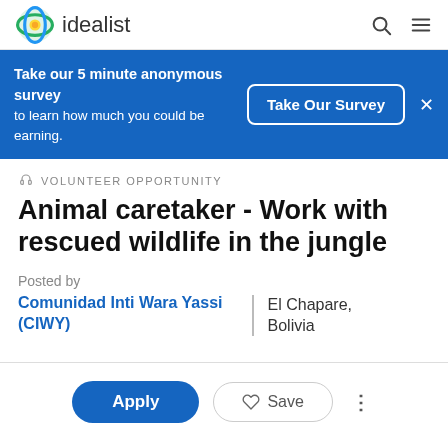idealist
Take our 5 minute anonymous survey to learn how much you could be earning.
Take Our Survey
VOLUNTEER OPPORTUNITY
Animal caretaker - Work with rescued wildlife in the jungle
Posted by
Comunidad Inti Wara Yassi (CIWY)
El Chapare, Bolivia
Apply
Save